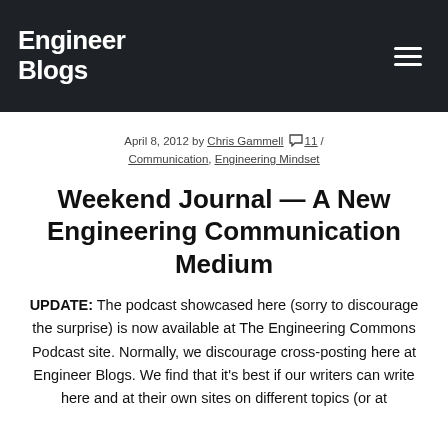Engineer Blogs
April 8, 2012 by Chris Gammell  11 / Communication, Engineering Mindset
Weekend Journal — A New Engineering Communication Medium
UPDATE: The podcast showcased here (sorry to discourage the surprise) is now available at The Engineering Commons Podcast site. Normally, we discourage cross-posting here at Engineer Blogs. We find that it's best if our writers can write here and at their own sites on different topics (or at